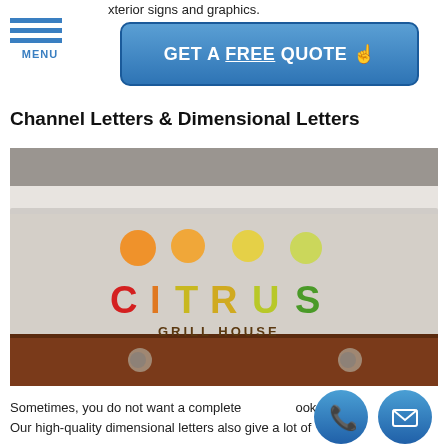xterior signs and graphics.
GET A FREE QUOTE
Channel Letters & Dimensional Letters
[Figure (photo): Photo of Citrus Grill House dimensional letter signage on a wall, showing colorful 3D letters spelling CITRUS GRILL HOUSE with decorative circle dots above.]
Sometimes, you do not want a complete sign look. Our high-quality dimensional letters also give a lot of...